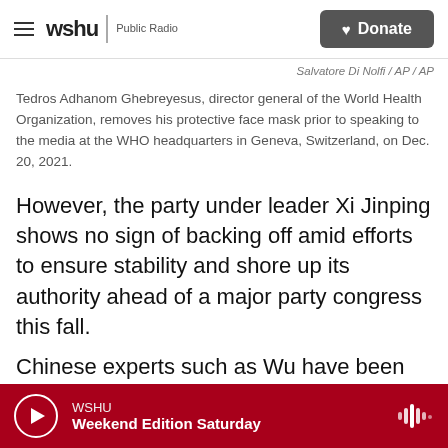wshu Public Radio | Donate
Salvatore Di Nolfi / AP / AP
Tedros Adhanom Ghebreyesus, director general of the World Health Organization, removes his protective face mask prior to speaking to the media at the WHO headquarters in Geneva, Switzerland, on Dec. 20, 2021.
However, the party under leader Xi Jinping shows no sign of backing off amid efforts to ensure stability and shore up its authority ahead of a major party congress this fall.
Chinese experts such as Wu have been careful to toe the party line, saying the strategy has been effective in limiting the official death toll in
WSHU Weekend Edition Saturday